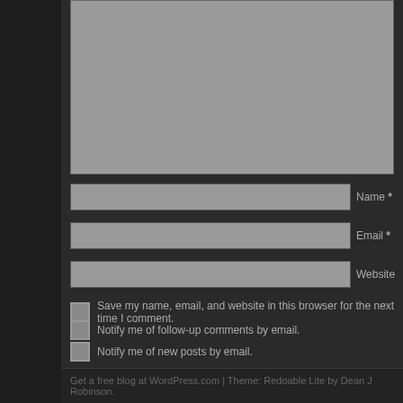[Figure (screenshot): Comment form textarea (greyed out input box at top)]
Name *
Email *
Website
Save my name, email, and website in this browser for the next time I comment.
Notify me of follow-up comments by email.
Notify me of new posts by email.
Post Comment
[Figure (logo): CommentLuv logo with phoenix bird icon and text COMMENTLUV in black and red]
« The Tiger Rocks The Daisies Chapter 2: Friday Super Mario
Get a free blog at WordPress.com | Theme: Redoable Lite by Dean J Robinson.